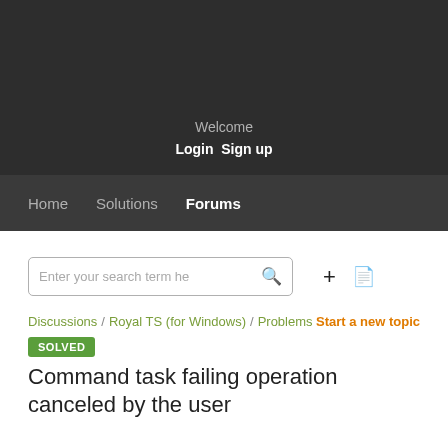Welcome Login Sign up
Home Solutions Forums
[Figure (screenshot): Search input box with placeholder text 'Enter your search term here' and a magnifier icon, plus plus and document icon buttons]
Discussions / Royal TS (for Windows) / Problems Start a new topic
SOLVED
Command task failing operation canceled by the user